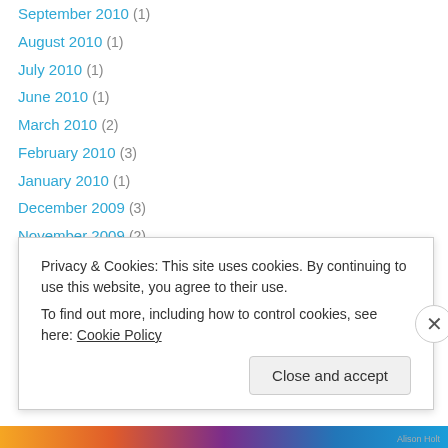September 2010 (1)
August 2010 (1)
July 2010 (1)
June 2010 (1)
March 2010 (2)
February 2010 (3)
January 2010 (1)
December 2009 (3)
November 2009 (2)
October 2009 (3)
September 2009 (6)
July 2009 (1)
May 2009 (2)
April 2009 (6)
Privacy & Cookies: This site uses cookies. By continuing to use this website, you agree to their use. To find out more, including how to control cookies, see here: Cookie Policy